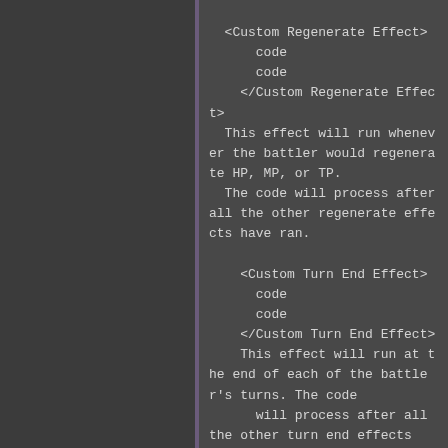<Custom Regenerate Effect>
    code
    code
  </Custom Regenerate Effect>
  This effect will run whenever the battler would regenerate HP, MP, or TP.
  The code will process after all the other regenerate effects have ran.

    <Custom Turn End Effect>
      code
      code
    </Custom Turn End Effect>
    This effect will run at the end of each of the battler's turns. The code
      will process after all the other turn end effects